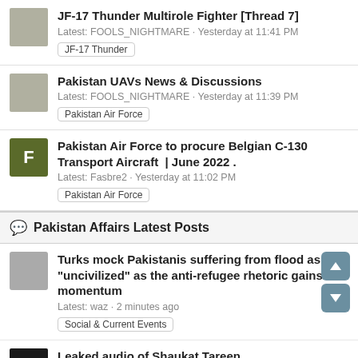JF-17 Thunder Multirole Fighter [Thread 7]
Latest: FOOLS_NIGHTMARE · Yesterday at 11:41 PM
JF-17 Thunder
Pakistan UAVs News & Discussions
Latest: FOOLS_NIGHTMARE · Yesterday at 11:39 PM
Pakistan Air Force
Pakistan Air Force to procure Belgian C-130 Transport Aircraft | June 2022 .
Latest: Fasbre2 · Yesterday at 11:02 PM
Pakistan Air Force
Pakistan Affairs Latest Posts
Turks mock Pakistanis suffering from flood as "uncivilized" as the anti-refugee rhetoric gains momentum
Latest: waz · 2 minutes ago
Social & Current Events
Leaked audio of Shaukat Tareen